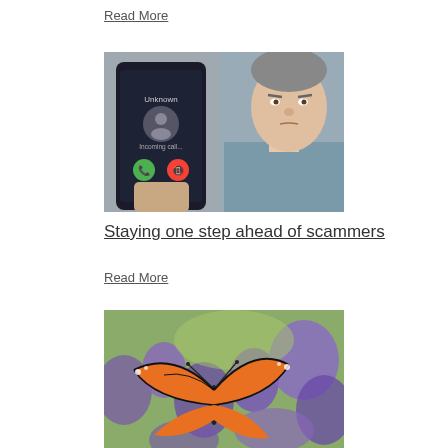Read More
[Figure (photo): Man holding a smartphone showing an unknown incoming call screen with green accept and red decline buttons, looking suspicious or concerned.]
Staying one step ahead of scammers
Read More
[Figure (photo): Close-up of a monarch butterfly resting on purple wildflowers with a blurred green background.]